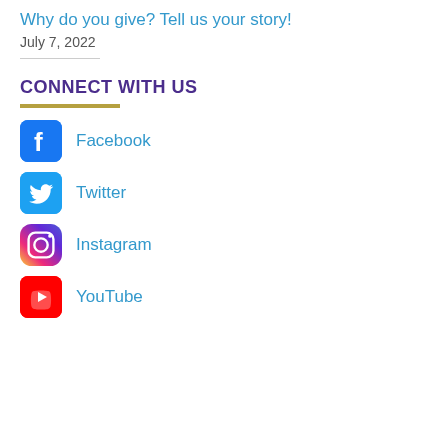Why do you give? Tell us your story!
July 7, 2022
CONNECT WITH US
[Figure (logo): Facebook logo icon (blue square with white f)]
Facebook
[Figure (logo): Twitter logo icon (light blue square with white bird)]
Twitter
[Figure (logo): Instagram logo icon (gradient square with camera outline)]
Instagram
[Figure (logo): YouTube logo icon (red square with white play button)]
YouTube